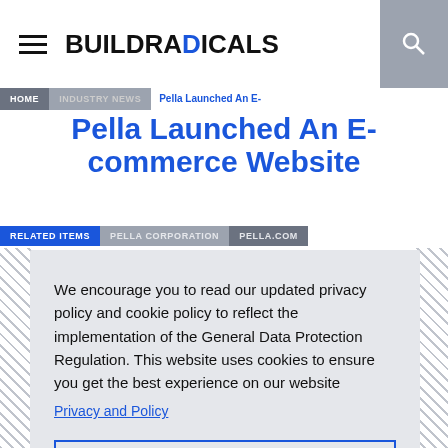BUILDRADICALS
Pella Launched An E-commerce Website
RELATED ITEMS   PELLA CORPORATION   PELLA.COM
We encourage you to read our updated privacy policy and cookie policy to reflect the implementation of the General Data Protection Regulation. This website uses cookies to ensure you get the best experience on our website
Privacy and Policy
Got it!
United States